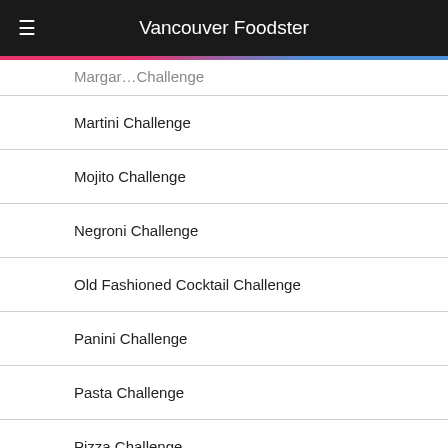Vancouver Foodster
Margarita Challenge
Martini Challenge
Mojito Challenge
Negroni Challenge
Old Fashioned Cocktail Challenge
Panini Challenge
Pasta Challenge
Pizza Challenge
Poutine Challenge
Press
Salad Challenge